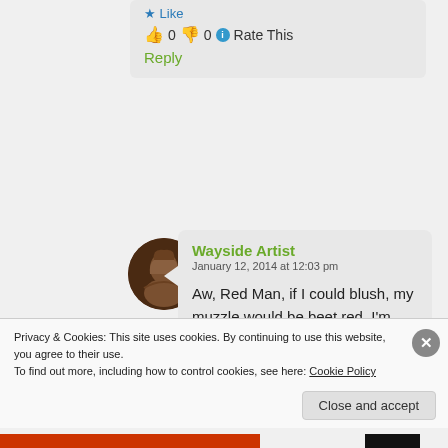👍 0 👎 0 ℹ Rate This
Reply
[Figure (photo): Circular avatar photo of a person with long hair, dark background]
Wayside Artist
January 12, 2014 at 12:03 pm

Aw, Red Man, if I could blush, my muzzle would be beet red. I'm fanning my bushy tail just to cool off. You're always my Main Man!
Privacy & Cookies: This site uses cookies. By continuing to use this website, you agree to their use.
To find out more, including how to control cookies, see here: Cookie Policy
Close and accept